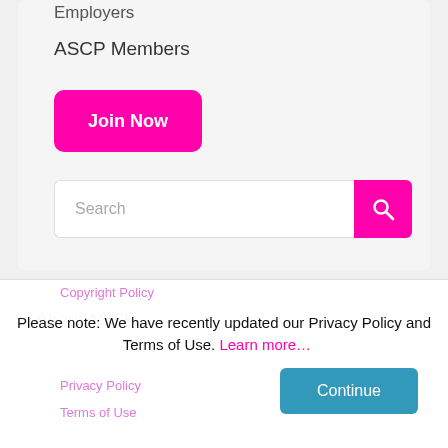Employers
ASCP Members
Join Now
Search
About ASCP
Copyright Policy
Please note: We have recently updated our Privacy Policy and Terms of Use. Learn more…
Privacy Policy
Terms of Use